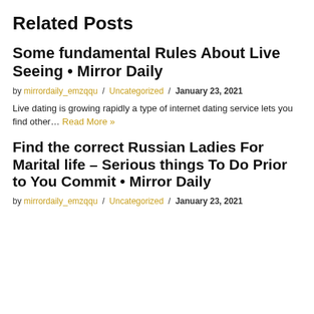Related Posts
Some fundamental Rules About Live Seeing • Mirror Daily
by mirrordaily_emzqqu / Uncategorized / January 23, 2021
Live dating is growing rapidly a type of internet dating service lets you find other… Read More »
Find the correct Russian Ladies For Marital life – Serious things To Do Prior to You Commit • Mirror Daily
by mirrordaily_emzqqu / Uncategorized / January 23, 2021